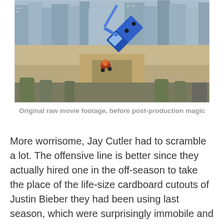[Figure (photo): A blue semi-truck appears to be flipping vertically in the air above a building rooftop, with a city skyline in the background. A person on a motorcycle is also visible mid-air. The scene looks like a movie stunt with urban buildings in the backdrop.]
Original raw movie footage, before post-production magic
More worrisome, Jay Cutler had to scramble a lot. The offensive line is better since they actually hired one in the off-season to take the place of the life-size cardboard cutouts of Justin Bieber they had been using last season, which were surprisingly immobile and melted when it rained. When Jay was scrambling for yards it was okay, but when he tried to make a play